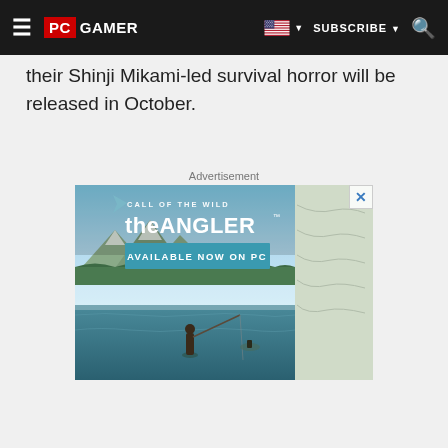PC GAMER | SUBSCRIBE
their Shinji Mikami-led survival horror will be released in October.
Advertisement
[Figure (photo): Advertisement for 'Call of the Wild: theANGLER' game. Shows a scenic outdoor fishing scene with mountains, forest, and lake. Text reads 'CALL OF THE WILD theANGLER AVAILABLE NOW ON PC'. A fisherman stands in water with a fishing rod.]